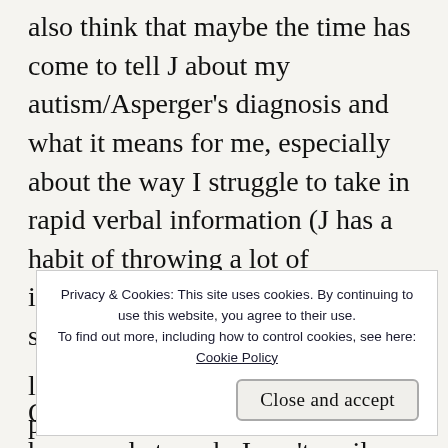also think that maybe the time has come to tell J about my autism/Asperger's diagnosis and what it means for me, especially about the way I struggle to take in rapid verbal information (J has a habit of throwing a lot of information at me at once). I'm not sure what exactly to say though.

One other awkward thing happened at work: I can't easily check my emails on my phone and was
Privacy & Cookies: This site uses cookies. By continuing to use this website, you agree to their use. To find out more, including how to control cookies, see here: Cookie Policy
line from the Intimate Judaism podcast. This features